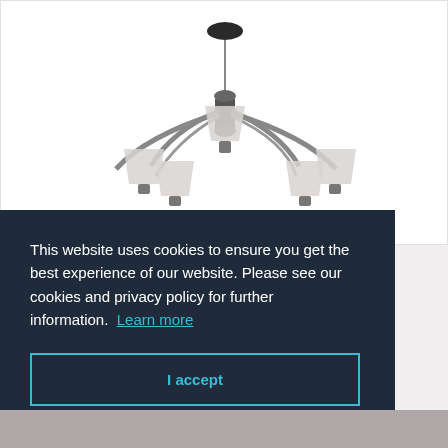[Figure (photo): A multi-arm chandelier with light grey fabric shades on silver/chrome arms, hanging from a chain and ceiling mount, photographed against a white background.]
This website uses cookies to ensure you get the best experience of our website. Please see our cookies and privacy policy for further information.  Learn more
I accept